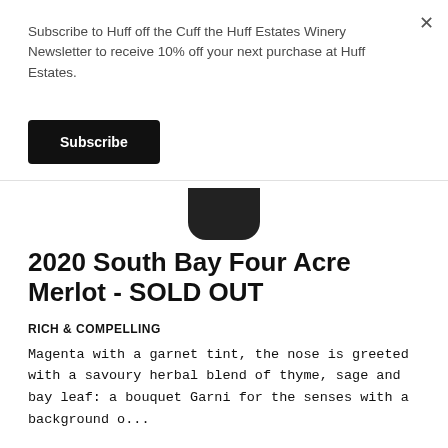Subscribe to Huff off the Cuff the Huff Estates Winery Newsletter to receive 10% off your next purchase at Huff Estates.
Subscribe
[Figure (photo): Bottom portion of a dark wine bottle visible at top of product page]
2020 South Bay Four Acre Merlot - SOLD OUT
RICH & COMPELLING
Magenta with a garnet tint, the nose is greeted with a savoury herbal blend of thyme, sage and bay leaf: a bouquet Garni for the senses with a background o...
$30.00